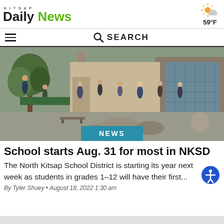Kitsap Daily News
59°F
[Figure (photo): School exterior courtyard with students walking between buildings, trees with autumn foliage, benches and large rocks in the foreground. NEWS badge overlaid at bottom center.]
NEWS
School starts Aug. 31 for most in NKSD
The North Kitsap School District is starting its year next week as students in grades 1–12 will have their first...
By Tyler Shuey • August 18, 2022 1:30 am